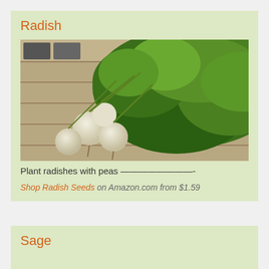Radish
[Figure (photo): Bunch of white radishes with large green leafy tops laid on a wooden crate surface]
Plant radishes with peas ————————-
Shop Radish Seeds on Amazon.com from $1.59
Sage